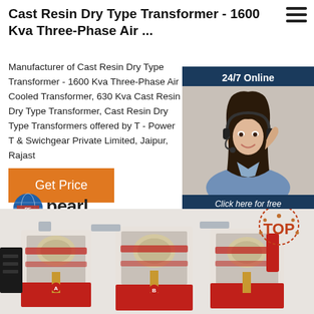Cast Resin Dry Type Transformer - 1600 Kva Three-Phase Air ...
Manufacturer of Cast Resin Dry Type Transformer - 1600 Kva Three-Phase Air Cooled Transformer, 630 Kva Cast Resin Dry Type Transformer, Cast Resin Dry Type Transformers offered by T - Power T & Swichgear Private Limited, Jaipur, Rajast
[Figure (photo): Customer service representative with headset, 24/7 Online chat widget with blue background, QUOTATION button in orange]
[Figure (logo): Pearl Electric logo - blue globe icon with PE letters and pearl electric text]
[Figure (photo): Three-phase cast resin dry type transformer units, red and silver colored, industrial electrical equipment]